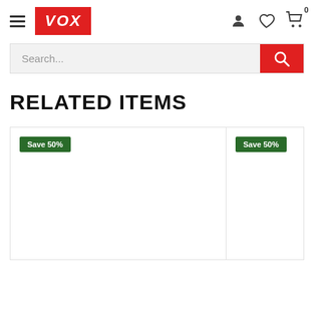VOX — navigation header with hamburger menu, logo, user icon, wishlist icon, cart (0)
Search...
RELATED ITEMS
[Figure (other): Product card with 'Save 50%' green badge, empty product image area]
[Figure (other): Product card with 'Save 50%' green badge, empty product image area (partially visible)]